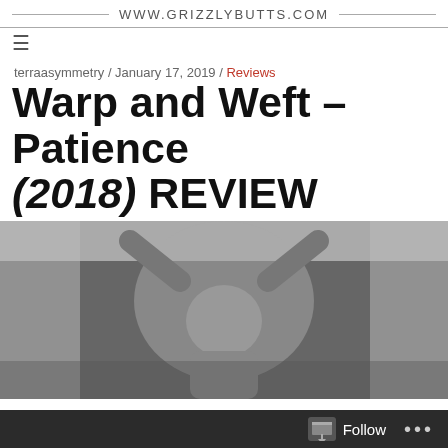WWW.GRIZZLYBUTTS.COM
terraasymmetry / January 17, 2019 / Reviews
Warp and Weft – Patience (2018) REVIEW
[Figure (photo): Black and white photo of a person with arms raised, looking upward, with fabric or curtains in the background.]
If there was any lingering hope for a country still reeling from the Reagan administrations enfeebling of any successive generations beyond, that optimism was callously